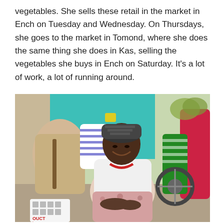vegetables. She sells these retail in the market in Ench on Tuesday and Wednesday. On Thursdays, she goes to the market in Tomond, where she does the same thing she does in Kas, selling the vegetables she buys in Ench on Saturday. It's a lot of work, a lot of running around.
[Figure (photo): A smiling woman wearing a patterned cap and a white jacket with a floral skirt sits cross-legged at a market. Other people and a motorcycle are visible in the background. Some people are wearing colorful clothing and a teal-colored building is in the background.]